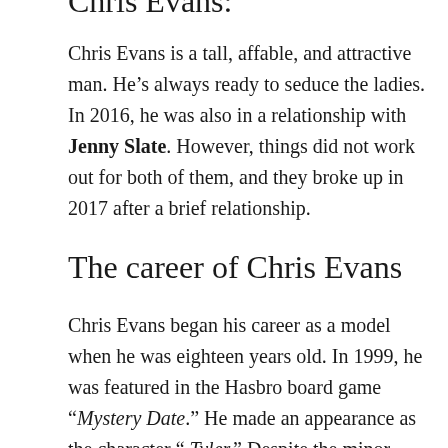Chris Evans:
Chris Evans is a tall, affable, and attractive man. He's always ready to seduce the ladies. In 2016, he was also in a relationship with Jenny Slate. However, things did not work out for both of them, and they broke up in 2017 after a brief relationship.
The career of Chris Evans
Chris Evans began his career as a model when he was eighteen years old. In 1999, he was featured in the Hasbro board game "Mystery Date." He made an appearance as the character " Tyler." Despite the minor step, it was his friends' encouragement that encouraged him to audition